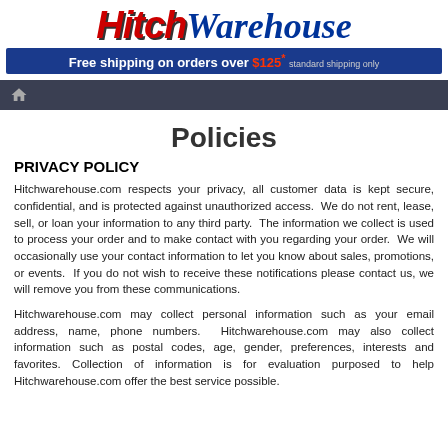[Figure (logo): Hitch Warehouse logo with red 'Hitch' text and blue cursive 'Warehouse' text, with blue banner 'Free shipping on orders over $125* standard shipping only']
🏠 (home icon navigation bar)
Policies
PRIVACY POLICY
Hitchwarehouse.com respects your privacy, all customer data is kept secure, confidential, and is protected against unauthorized access.  We do not rent, lease, sell, or loan your information to any third party.  The information we collect is used to process your order and to make contact with you regarding your order.  We will occasionally use your contact information to let you know about sales, promotions, or events.  If you do not wish to receive these notifications please contact us, we will remove you from these communications.
Hitchwarehouse.com may collect personal information such as your email address, name, phone numbers.  Hitchwarehouse.com may also collect information such as postal codes, age, gender, preferences, interests and favorites. Collection of information is for evaluation purposed to help Hitchwarehouse.com offer the best service possible.